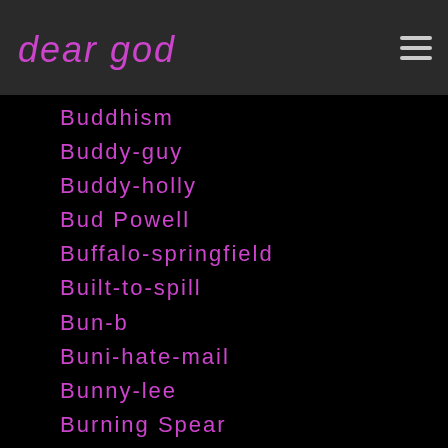dear god
Buddhism
Buddy-guy
Buddy-holly
Bud Powell
Buffalo-springfield
Built-to-spill
Bun-b
Buni-hate-mail
Bunny-lee
Burning Spear
Busby-berkeley
Bush
Bush Tetras
Business
Busta Rhymes
Buster Keaton
Butch Via…